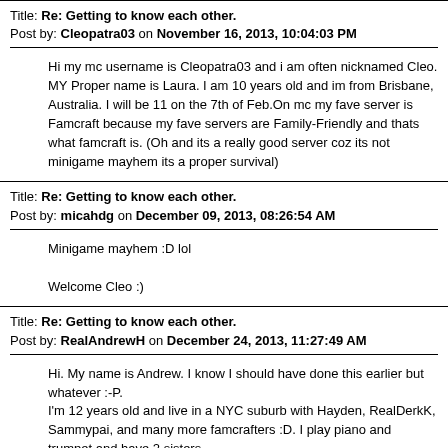Title: Re: Getting to know each other.
Post by: Cleopatra03 on November 16, 2013, 10:04:03 PM
Hi my mc username is Cleopatra03 and i am often nicknamed Cleo. MY Proper name is Laura. I am 10 years old and im from Brisbane, Australia. I will be 11 on the 7th of Feb.On mc my fave server is Famcraft because my fave servers are Family-Friendly and thats what famcraft is. (Oh and its a really good server coz its not minigame mayhem its a proper survival)
Title: Re: Getting to know each other.
Post by: micahdg on December 09, 2013, 08:26:54 AM
Minigame mayhem :D lol

Welcome Cleo :)
Title: Re: Getting to know each other.
Post by: RealAndrewH on December 24, 2013, 11:27:49 AM
Hi. My name is Andrew. I know I should have done this earlier but whatever :-P.
I'm 12 years old and live in a NYC suburb with Hayden, RealDerkK, Sammypai, and many more famcrafters :D. I play piano and trumpet and have 2 sisters.
Hayden showed me this server when I just bought mc (which was relatively recently) and lemme tell you. IT IS AWESOME!!!